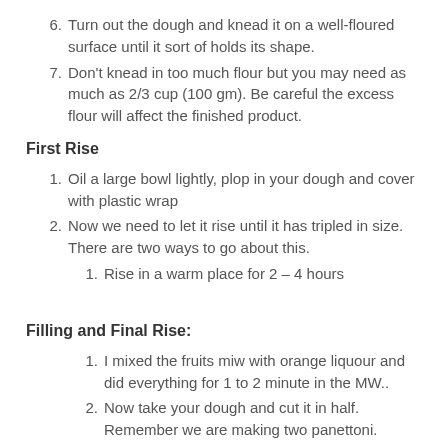6. Turn out the dough and knead it on a well-floured surface until it sort of holds its shape.
7. Don’t knead in too much flour but you may need as much as 2/3 cup (100 gm). Be careful the excess flour will affect the finished product.
First Rise
1. Oil a large bowl lightly, plop in your dough and cover with plastic wrap
2. Now we need to let it rise until it has tripled in size. There are two ways to go about this.
1. Rise in a warm place for 2 – 4 hours
Filling and Final Rise:
1. I mixed the fruits miw with orange liquour and did everything for 1 to 2 minute in the MW..
2. Now take your dough and cut it in half. Remember we are making two panettoni.
3. Combine all your filling ingredients and mix well